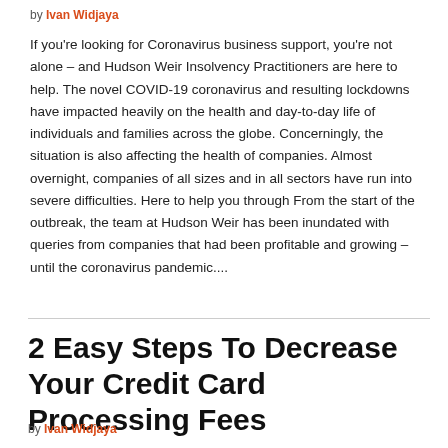by Ivan Widjaya
If you're looking for Coronavirus business support, you're not alone – and Hudson Weir Insolvency Practitioners are here to help. The novel COVID-19 coronavirus and resulting lockdowns have impacted heavily on the health and day-to-day life of individuals and families across the globe. Concerningly, the situation is also affecting the health of companies. Almost overnight, companies of all sizes and in all sectors have run into severe difficulties. Here to help you through From the start of the outbreak, the team at Hudson Weir has been inundated with queries from companies that had been profitable and growing – until the coronavirus pandemic....
2 Easy Steps To Decrease Your Credit Card Processing Fees
by Ivan Widjaya